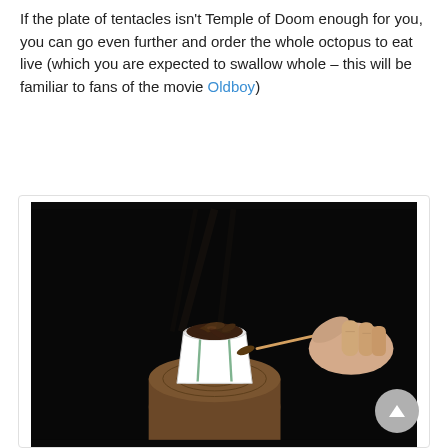If the plate of tentacles isn't Temple of Doom enough for you, you can go even further and order the whole octopus to eat live (which you are expected to swallow whole – this will be familiar to fans of the movie Oldboy)
[Figure (photo): Dark background photo showing a small white cup filled with dark insects/worms placed on a wooden stump, with a hand holding a chopstick or skewer picking one out from the right side.]